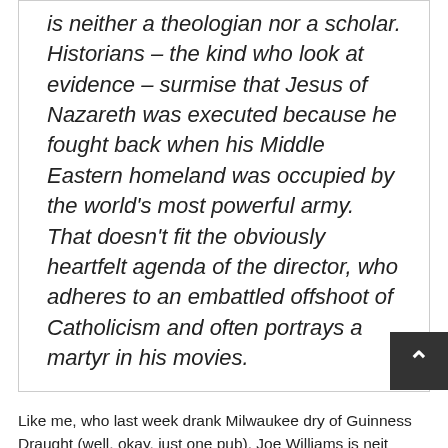is neither a theologian nor a scholar. Historians – the kind who look at evidence – surmise that Jesus of Nazareth was executed because he fought back when his Middle Eastern homeland was occupied by the world's most powerful army. That doesn't fit the obviously heartfelt agenda of the director, who adheres to an embattled offshoot of Catholicism and often portrays a martyr in his movies.
Like me, who last week drank Milwaukee dry of Guinness Draught (well, okay, just one pub), Joe Williams is neither concert violinist nor professional elephant trainer. But what does that have to do with the price of tee shirts in China? Not an apppacking thing, but it does ad homenim Mel Gibson